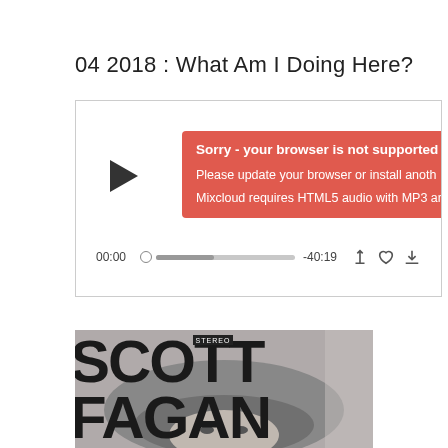04 2018 : What Am I Doing Here?
[Figure (screenshot): Audio player widget from Mixcloud showing a play button, progress bar at 00:00, duration -40:19, and icons for share, like, and download. An error overlay in red reads: 'Sorry - your browser is not supported. Please update your browser or install anoth... Mixcloud requires HTML5 audio with MP3 ar...']
[Figure (photo): Black and white album cover or promotional image showing 'SCOTT FAGAN' in large bold letters overlaid on a photo of a person with long hair looking up at the camera. A small 'STEREO' label appears at the top center.]